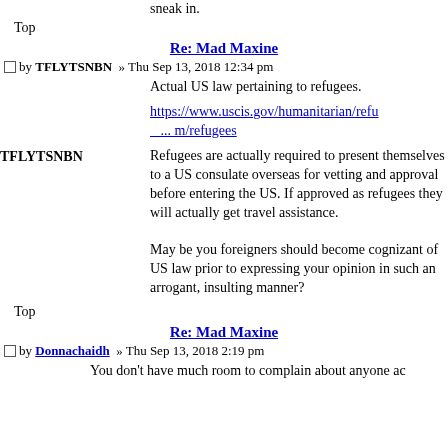sneak in.
Top
Re: Mad Maxine
□ by TFLYTSNBN » Thu Sep 13, 2018 12:34 pm
Actual US law pertaining to refugees.
https://www.uscis.gov/humanitarian/refu... m/refugees
Refugees are actually required to present themselves to a US consulate overseas for vetting and approval before entering the US. If approved as refugees they will actually get travel assistance.
May be you foreigners should become cognizant of US law prior to expressing your opinion in such an arrogant, insulting manner?
Top
Re: Mad Maxine
□ by Donnachaidh » Thu Sep 13, 2018 2:19 pm
You don't have much room to complain about anyone ac